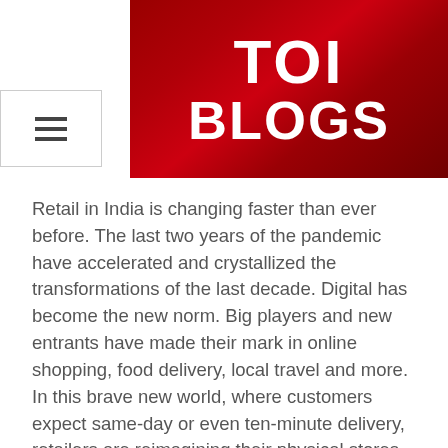[Figure (logo): Dark red banner with large white bold text reading 'TOI BLOGS' — the Times of India Blogs logo/header image]
Retail in India is changing faster than ever before. The last two years of the pandemic have accelerated and crystallized the transformations of the last decade. Digital has become the new norm. Big players and new entrants have made their mark in online shopping, food delivery, local travel and more. In this brave new world, where customers expect same-day or even ten-minute delivery, retailers are reimagining their physical stores. For customers, digital building blocks like UPI have gained acceptance and e-commerce has been adopted